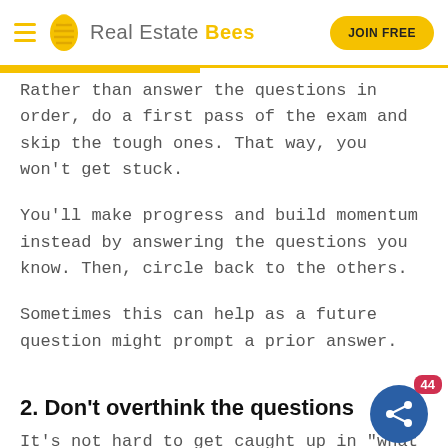Real Estate Bees | JOIN FREE
Rather than answer the questions in order, do a first pass of the exam and skip the tough ones. That way, you won't get stuck.
You'll make progress and build momentum instead by answering the questions you know. Then, circle back to the others.
Sometimes this can help as a future question might prompt a prior answer.
2. Don't overthink the questions
It's not hard to get caught up in "what ifs" on exams like